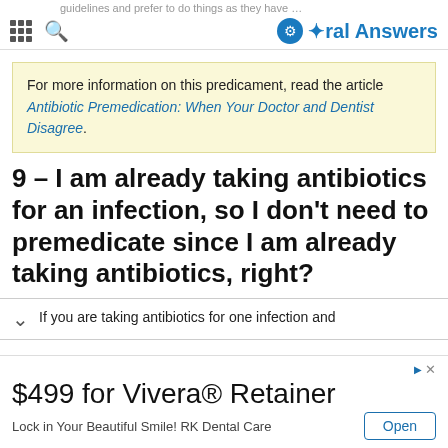guidelines and prefer to do things as they have alwa… | Oral Answers
For more information on this predicament, read the article Antibiotic Premedication: When Your Doctor and Dentist Disagree.
9 – I am already taking antibiotics for an infection, so I don't need to premedicate since I am already taking antibiotics, right?
If you are taking antibiotics for one infection and
$499 for Vivera® Retainer
Lock in Your Beautiful Smile! RK Dental Care